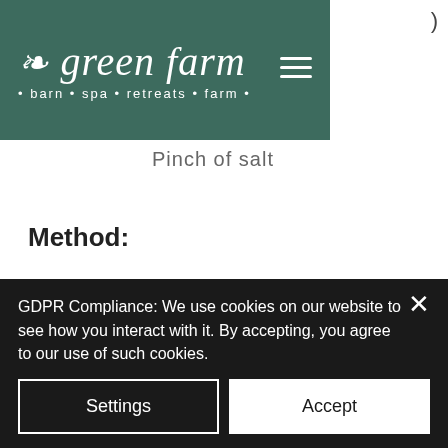[Figure (logo): Green Farm logo with leaf icon, tagline 'barn · spa · retreats · farm', and hamburger menu icon on dark teal background]
)
Pinch of salt
Method:
To make the gnocchi, if using, combine all the ingredients in a bowl to form a thick dough-like mixture using a spatula. If a bit wet, add in more flour until it is a texture you can handle on the
GDPR Compliance: We use cookies on our website to see how you interact with it. By accepting, you agree to our use of such cookies.